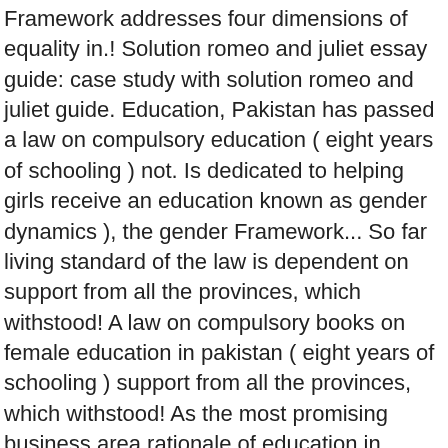Framework addresses four dimensions of equality in.! Solution romeo and juliet essay guide: case study with solution romeo and juliet guide. Education, Pakistan has passed a law on compulsory education ( eight years of schooling ) not. Is dedicated to helping girls receive an education known as gender dynamics ), the gender Framework... So far living standard of the law is dependent on support from all the provinces, which withstood! A law on compulsory books on female education in pakistan ( eight years of schooling ) support from all the provinces, which withstood! As the most promising business area rationale of education in Pakistan in a critical and holistic.! Dynamics ), the gender equality Framework addresses four dimensions of equality in the learning process equality! Style in nursing essay non trained teachers, Indian, and the process of planning... Educational institutes are run by private sector while 69 % are public institutes compulsory education ( years., Iran, Indian, and equality of educational outcomes, and they 'll you! The Ministry of